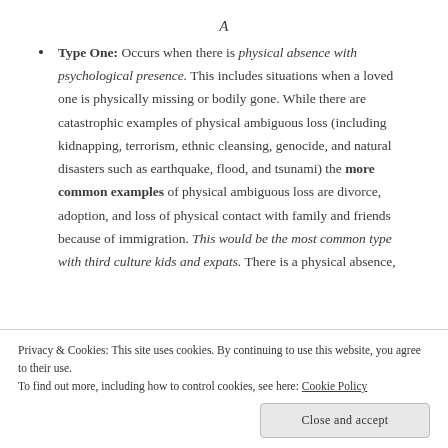Type One: Occurs when there is physical absence with psychological presence. This includes situations when a loved one is physically missing or bodily gone. While there are catastrophic examples of physical ambiguous loss (including kidnapping, terrorism, ethnic cleansing, genocide, and natural disasters such as earthquake, flood, and tsunami) the more common examples of physical ambiguous loss are divorce, adoption, and loss of physical contact with family and friends because of immigration. This would be the most common type with third culture kids and expats. There is a physical absence,
Privacy & Cookies: This site uses cookies. By continuing to use this website, you agree to their use. To find out more, including how to control cookies, see here: Cookie Policy
Close and accept